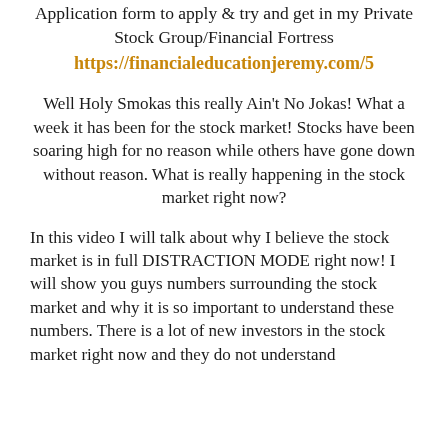Application form to apply & try and get in my Private Stock Group/Financial Fortress
https://financialeducationjeremy.com/5
Well Holy Smokas this really Ain't No Jokas! What a week it has been for the stock market! Stocks have been soaring high for no reason while others have gone down without reason. What is really happening in the stock market right now?
In this video I will talk about why I believe the stock market is in full DISTRACTION MODE right now! I will show you guys numbers surrounding the stock market and why it is so important to understand these numbers. There is a lot of new investors in the stock market right now and they do not understand